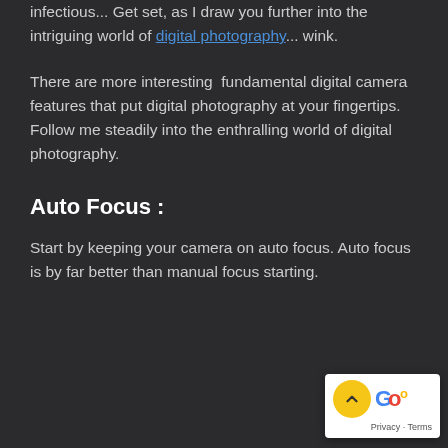infectious... Get set, as I draw you further into the intriguing world of digital photography... wink.
There are more interesting fundamental digital camera features that put digital photography at your fingertips. Follow me steadily into the enthralling world of digital photography.
Auto Focus :
Start by keeping your camera on auto focus. Auto focus is by far better than manual focus starting.